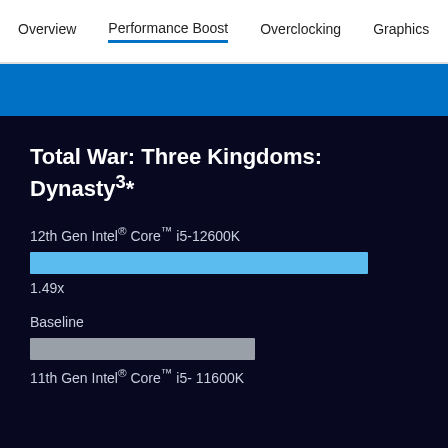Overview | Performance Boost | Overclocking | Graphics
Total War: Three Kingdoms: Dynasty³*
12th Gen Intel® Core™ i5-12600K
[Figure (bar-chart): Total War: Three Kingdoms: Dynasty]
1.49x
Baseline
11th Gen Intel® Core™ i5- 11600K